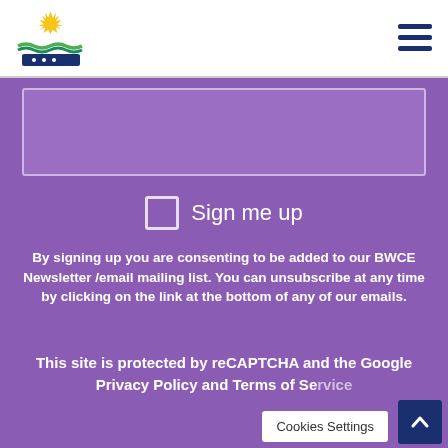[Figure (logo): BWCE organization logo with stylized sun/rays over water waves and blue ship/vessel shape]
[Figure (other): Hamburger menu icon (three horizontal navy blue bars) in top right corner]
[Figure (other): Purple text input/textarea form field with light border]
Sign me up
By signing up you are consenting to be added to our BWCE Newsletter /email mailing list. You can unsubscribe at any time by clicking on the link at the bottom of any of our emails.
This site is protected by reCAPTCHA and the Google Privacy Policy and Terms of Service apply.
Cookies Settings